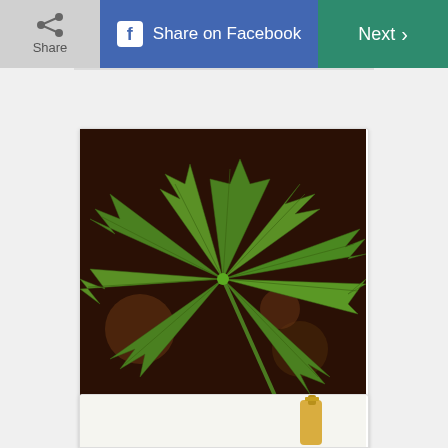Share | Share on Facebook | Next
[Figure (photo): Close-up photo of a cannabis/marijuana leaf with serrated edges radiating outward against a dark brown/maroon background]
CBD vs. THC
[Figure (photo): Partial view of a bottle of golden/yellow oil at the bottom of the page]